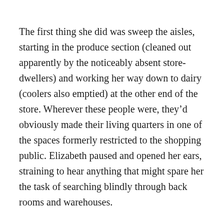The first thing she did was sweep the aisles, starting in the produce section (cleaned out apparently by the noticeably absent store-dwellers) and working her way down to dairy (coolers also emptied) at the other end of the store. Wherever these people were, they'd obviously made their living quarters in one of the spaces formerly restricted to the shopping public. Elizabeth paused and opened her ears, straining to hear anything that might spare her the task of searching blindly through back rooms and warehouses.
All remained silent but the wind howling outside.